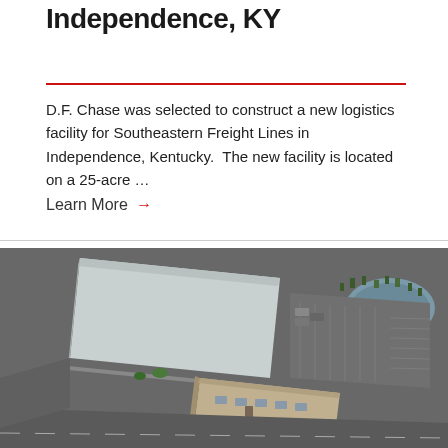Independence, KY
D.F. Chase was selected to construct a new logistics facility for Southeastern Freight Lines in Independence, Kentucky.  The new facility is located on a 25-acre …
Learn More →
[Figure (photo): Aerial view of a large logistics/freight facility with a long rectangular warehouse building with white/gray metal roof, loading dock areas on left side, parking lot on right side with a pond visible, and a smaller attached office building at the bottom right. The facility is surrounded by paved roads and landscaping.]